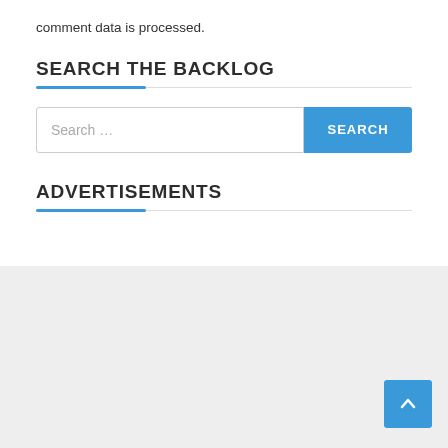comment data is processed.
SEARCH THE BACKLOG
Search …
ADVERTISEMENTS